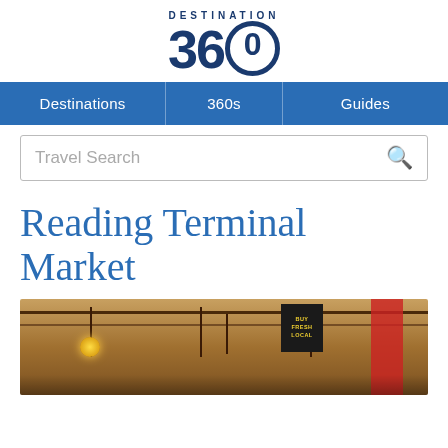[Figure (logo): Destination 360 logo — bold dark blue text reading DESTINATION above large 360 where the 0 is styled as a circle]
Destinations | 360s | Guides
Travel Search
Reading Terminal Market
[Figure (photo): Interior of Reading Terminal Market showing ceiling beams, hanging lights, a dark sign with yellow text, and a red banner on the right side]